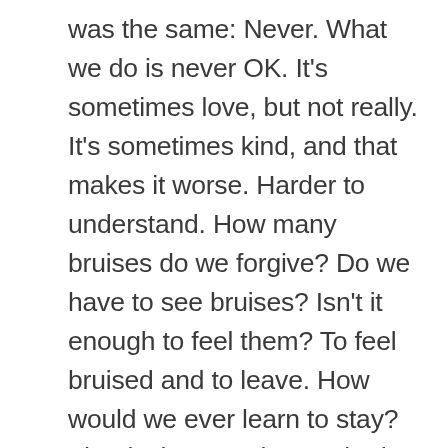was the same: Never. What we do is never OK. It's sometimes love, but not really. It's sometimes kind, and that makes it worse. Harder to understand. How many bruises do we forgive? Do we have to see bruises? Isn't it enough to feel them? To feel bruised and to leave. How would we ever learn to stay? That is the question I asked myself for twenty years. Each terrible relationship after the next. The sex so frequently savage, and demeaning, and scary, and so fucking hot. And I worried. I worried that I was ill. Not just for the sex, but for the desire to injure and be injured